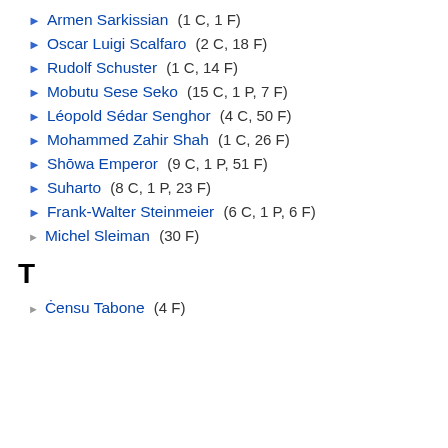▶ Armen Sarkissian (1 C, 1 F)
▶ Oscar Luigi Scalfaro (2 C, 18 F)
▶ Rudolf Schuster (1 C, 14 F)
▶ Mobutu Sese Seko (15 C, 1 P, 7 F)
▶ Léopold Sédar Senghor (4 C, 50 F)
▶ Mohammed Zahir Shah (1 C, 26 F)
▶ Shōwa Emperor (9 C, 1 P, 51 F)
▶ Suharto (8 C, 1 P, 23 F)
▶ Frank-Walter Steinmeier (6 C, 1 P, 6 F)
▶ Michel Sleiman (30 F)
T
▶ Ċensu Tabone (4 F)